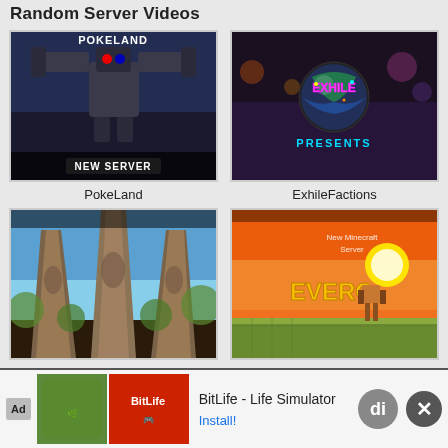Random Server Videos
[Figure (screenshot): PokeLand Minecraft server thumbnail with robot/mech figure and 'NEW SERVER' text]
PokeLand
[Figure (screenshot): ExhileFactions server thumbnail with colorful globe logo and 'PRESENTS' text]
ExhileFactions
[Figure (screenshot): Play.DipCraft.Ro Network MC server thumbnail with cathedral/towers aerial view]
Play.DipCraft.Ro ----> Network MC
[Figure (screenshot): Evero Minecraft server thumbnail with sunset scene and character, 'New Minecraft Server' text]
Evero
[Figure (screenshot): Ad banner: BitLife - Life Simulator app advertisement with Install button]